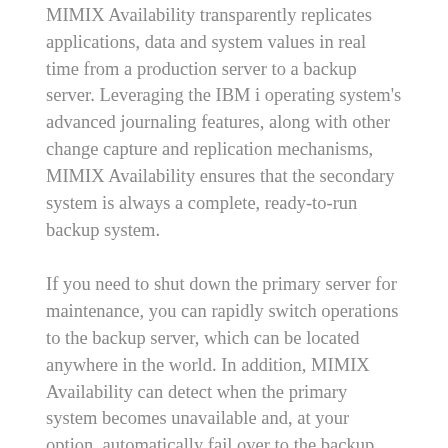MIMIX Availability transparently replicates applications, data and system values in real time from a production server to a backup server. Leveraging the IBM i operating system's advanced journaling features, along with other change capture and replication mechanisms, MIMIX Availability ensures that the secondary system is always a complete, ready-to-run backup system.
If you need to shut down the primary server for maintenance, you can rapidly switch operations to the backup server, which can be located anywhere in the world. In addition, MIMIX Availability can detect when the primary system becomes unavailable and, at your option, automatically fail over to the backup system, minimizing business downtime.
When the primary server is available again, MIMIX Availability will automatically resynchronize the two servers by replicating any changes made on the secondary system. Then, when you are ready, you can easily switch users back to the primary system. MIMIX Availability's advanced autonomics seek out discrepancies in the replicated data and correct any errors, without the need for